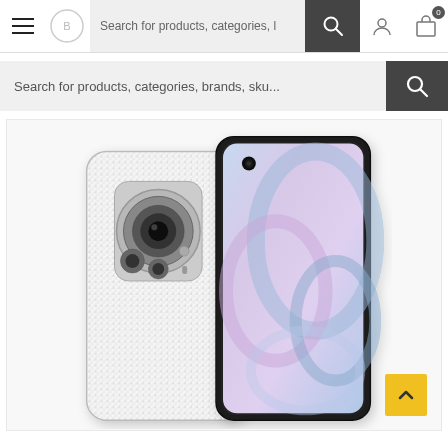[Figure (screenshot): E-commerce website header with hamburger menu, Best Mobile Phone New Zealand logo, search bar overlay, search/user/cart icons]
Search for products, categories, brands, sku...
[Figure (photo): Two Xiaomi smartphones shown back-to-back — one showing the rear with triple camera module on white textured back, and one showing the front with colorful purple/blue/white flower wallpaper and punch-hole camera]